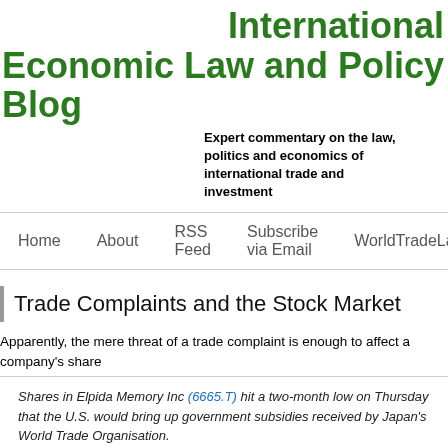International Economic Law and Policy Blog
Expert commentary on the law, politics and economics of international trade and investment
Home   About   RSS Feed   Subscribe via Email   WorldTradeLaw.net
Trade Complaints and the Stock Market
Apparently, the mere threat of a trade complaint is enough to affect a company's share
Shares in Elpida Memory Inc (6665.T) hit a two-month low on Thursday that the U.S. would bring up government subsidies received by Japan's World Trade Organisation.
Shares in Elpida -- Japan's sole maker of dynamic random access mem percent to 1,080 yen after falling as much as 14 percent, against a 1.4 p average.